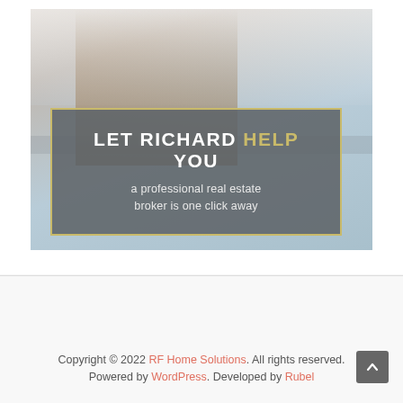[Figure (illustration): Promotional banner image showing a man in a brown suit against a city skyline background, with a gray overlaid box containing the text 'LET RICHARD HELP YOU - a professional real estate broker is one click away']
Copyright © 2022 RF Home Solutions. All rights reserved. Powered by WordPress. Developed by Rubel